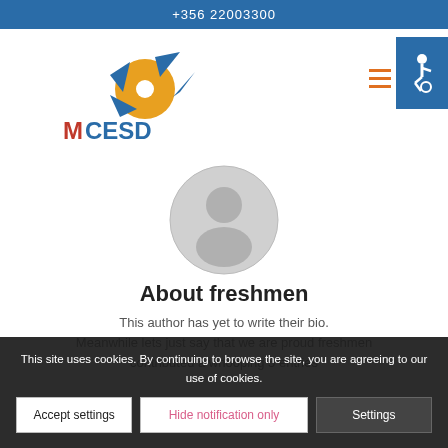+356 22003300
[Figure (logo): MCESD logo with pinwheel graphic and red/blue text]
[Figure (logo): Accessibility icon (wheelchair symbol) in blue box with hamburger menu lines]
[Figure (illustration): Grey circular default user avatar/profile silhouette]
About freshmen
This author has yet to write their bio. Meanwhile lets just say that we are proud freshmen contributed a whooping 5 entries
This site uses cookies. By continuing to browse the site, you are agreeing to our use of cookies.
Accept settings
Hide notification only
Settings